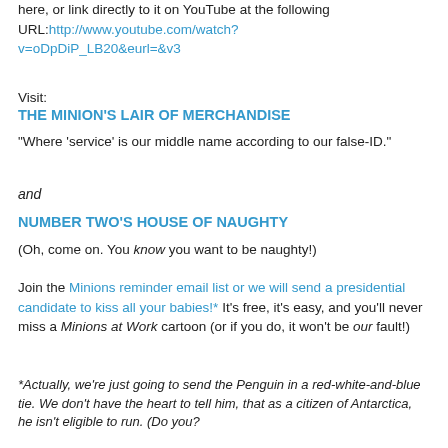here, or link directly to it on YouTube at the following URL: http://www.youtube.com/watch?v=oDpDiP_LB20&eurl=&v3
Visit:
THE MINION'S LAIR OF MERCHANDISE
"Where 'service' is our middle name according to our false-ID."
and
NUMBER TWO'S HOUSE OF NAUGHTY
(Oh, come on. You know you want to be naughty!)
Join the Minions reminder email list or we will send a presidential candidate to kiss all your babies!* It's free, it's easy, and you'll never miss a Minions at Work cartoon (or if you do, it won't be our fault!)
*Actually, we're just going to send the Penguin in a red-white-and-blue tie. We don't have the heart to tell him, that as a citizen of Antarctica, he isn't eligible to run. (Do you?